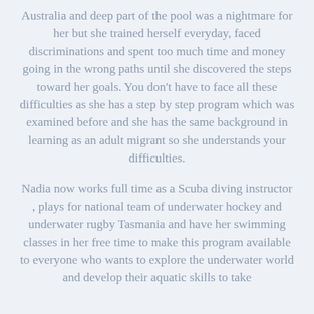Australia and deep part of the pool was a nightmare for her but she trained herself everyday, faced discriminations and spent too much time and money going in the wrong paths until she discovered the steps toward her goals. You don't have to face all these difficulties as she has a step by step program which was examined before and she has the same background in learning as an adult migrant so she understands your difficulties.
Nadia now works full time as a Scuba diving instructor , plays for national team of underwater hockey and underwater rugby Tasmania and have her swimming classes in her free time to make this program available to everyone who wants to explore the underwater world and develop their aquatic skills to take